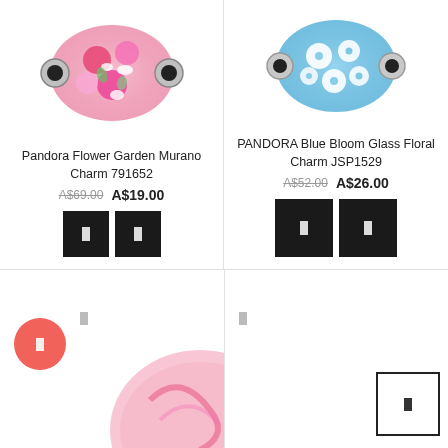[Figure (photo): Pandora Flower Garden Murano glass charm bead with pink and white flowers on pink background with silver fittings]
Pandora Flower Garden Murano Charm 791652
A$69.00  A$19.00
[Figure (photo): PANDORA Blue Bloom Glass Floral Charm with white flowers on blue glass with silver fittings]
PANDORA Blue Bloom Glass Floral Charm JSP1529
A$52.00  A$26.00
[Figure (photo): Partial view of a pink Murano glass charm bead, bottom left corner, with coral add-to-cart button and small icon]
[Figure (photo): Partial view of bottom right product cell with icon and outline button]